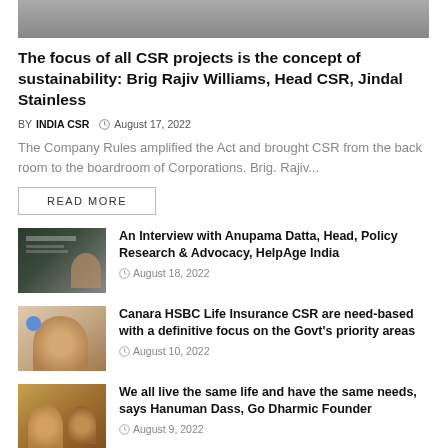[Figure (photo): Top cropped photo of a person in formal attire with purple tie, partially visible]
The focus of all CSR projects is the concept of sustainability: Brig Rajiv Williams, Head CSR, Jindal Stainless
BY INDIA CSR  August 17, 2022
The Company Rules amplified the Act and brought CSR from the back room to the boardroom of Corporations. Brig. Rajiv...
READ MORE
[Figure (photo): Thumbnail of Anupama Datta interview card with dark background]
An Interview with Anupama Datta, Head, Policy Research & Advocacy, HelpAge India
August 18, 2022
[Figure (photo): Thumbnail of a woman speaking at an event]
Canara HSBC Life Insurance CSR are need-based with a definitive focus on the Govt's priority areas
August 10, 2022
[Figure (photo): Thumbnail of children at an outdoor event]
We all live the same life and have the same needs, says Hanuman Dass, Go Dharmic Founder
August 9, 2022